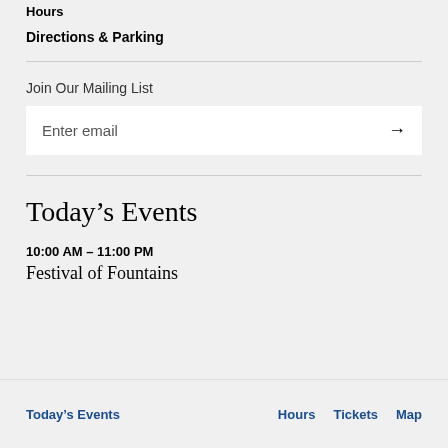Hours
Directions & Parking
Join Our Mailing List
Enter email →
Today's Events
10:00 AM – 11:00 PM
Festival of Fountains
Today's Events   Hours   Tickets   Map